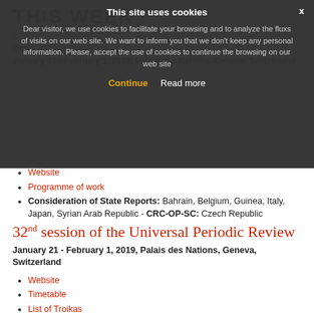THIS WEEK
Dear visitor, we use cookies to facilitate your browsing and to analyze the fluxs of visits on our web site. We want to inform you that we don't keep any personal information. Please, accept the use of cookies to continue the browsing on our web site
Continue  Read more
January 14 - February 1, 2019, Palais des Nations, Geneva, Switzerland
Website
Programme of work
Consideration of State Reports: Bahrain, Belgium, Guinea, Italy, Japan, Syrian Arab Republic - CRC-OP-SC: Czech Republic
32nd session of the Universal Periodic Review
January 21 - February 1, 2019, Palais des Nations, Geneva, Switzerland
Website
Timetable
List of Troikas
Registration
UPR-Info
States under review: Afghanistan, Cambodia, Chile, Comoros